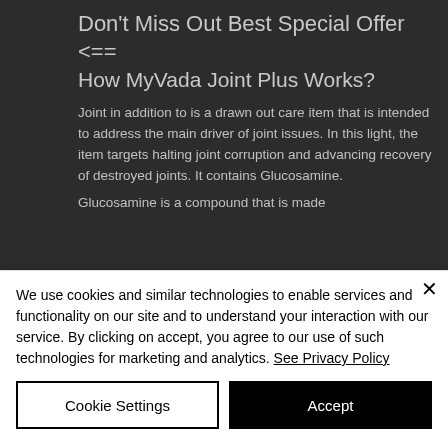Don't Miss Out Best Special Offer <==
How MyVada Joint Plus Works?
Joint in addition to is a drawn out care item that is intended to address the main driver of joint issues. In this light, the item targets halting joint corruption and advancing recovery of destroyed joints. It contains Glucosamine.
Glucosamine is a compound that is made
We use cookies and similar technologies to enable services and functionality on our site and to understand your interaction with our service. By clicking on accept, you agree to our use of such technologies for marketing and analytics. See Privacy Policy
Cookie Settings
Accept